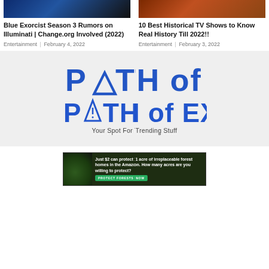[Figure (photo): Blue-tinted image, top portion of article card for Blue Exorcist article]
[Figure (photo): Orange/red-tinted image, top portion of article card for Historical TV Shows article]
Blue Exorcist Season 3 Rumors on Illuminati | Change.org Involved (2022)
Entertainment | February 4, 2022
10 Best Historical TV Shows to Know Real History Till 2022!!
Entertainment | February 3, 2022
[Figure (logo): PATH of EX logo with tagline 'Your Spot For Trending Stuff' on light gray background]
[Figure (photo): Advertisement banner: 'Just $2 can protect 1 acre of irreplaceable forest homes in the Amazon. How many acres are you willing to protect?' with PROTECT FORESTS NOW button]